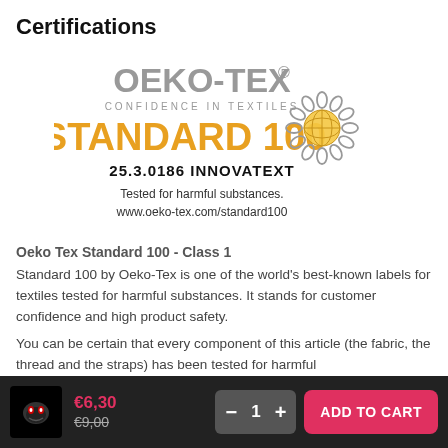Certifications
[Figure (logo): OEKO-TEX® CONFIDENCE IN TEXTILES STANDARD 100 certification logo with decorative circular flower pattern. Text: 25.3.0186 INNOVATEXT. Tested for harmful substances. www.oeko-tex.com/standard100]
Oeko Tex Standard 100 - Class 1
Standard 100 by Oeko-Tex is one of the world's best-known labels for textiles tested for harmful substances. It stands for customer confidence and high product safety.
You can be certain that every component of this article (the fabric, the thread and the straps) has been tested for harmful